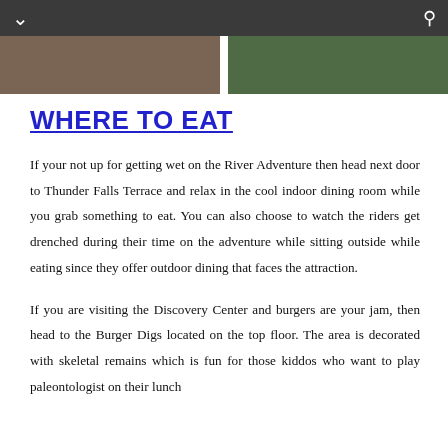[Figure (photo): Navigation bar with chevron/down arrow on left and search icon on right, dark gray background]
[Figure (photo): Two cropped photos side by side: left shows a person in a natural/wooded setting, right shows green tropical foliage]
WHERE TO EAT
If your not up for getting wet on the River Adventure then head next door to Thunder Falls Terrace and relax in the cool indoor dining room while you grab something to eat. You can also choose to watch the riders get drenched during their time on the adventure while sitting outside while eating since they offer outdoor dining that faces the attraction.
If you are visiting the Discovery Center and burgers are your jam, then head to the Burger Digs located on the top floor. The area is decorated with skeletal remains which is fun for those kiddos who want to play paleontologist on their lunch